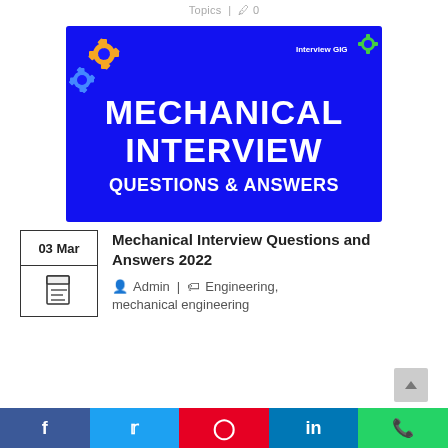Topics | 0
[Figure (illustration): Blue banner image for 'Mechanical Interview Questions & Answers' with gear icons and 'Interview GIG' branding in top right corner]
03 Mar
Mechanical Interview Questions and Answers 2022
Admin | Engineering, mechanical engineering